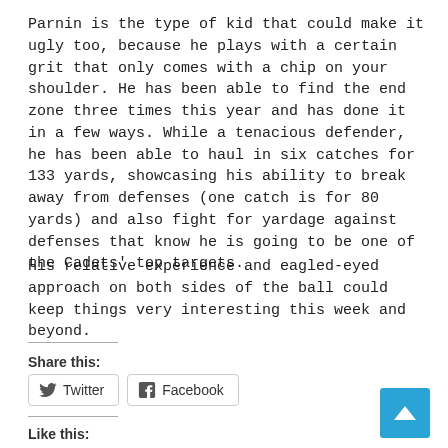Parnin is the type of kid that could make it ugly too, because he plays with a certain grit that only comes with a chip on your shoulder. He has been able to find the end zone three times this year and has done it in a few ways. While a tenacious defender, he has been able to haul in six catches for 133 yards, showcasing his ability to break away from defenses (one catch is for 80 yards) and also fight for yardage against defenses that know he is going to be one of the Cadets' top targets.
His relative experience and eagled-eyed approach on both sides of the ball could keep things very interesting this week and beyond.
Share this:
Twitter  Facebook
Like this: